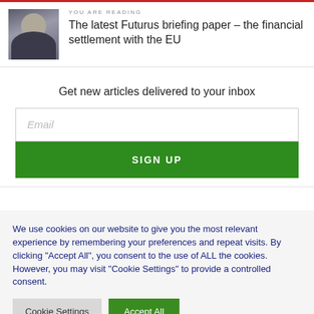[Figure (photo): Small portrait photo of a man in a dark suit]
YOU ARE READING
The latest Futurus briefing paper – the financial settlement with the EU
Get new articles delivered to your inbox
Email
SIGN UP
We use cookies on our website to give you the most relevant experience by remembering your preferences and repeat visits. By clicking "Accept All", you consent to the use of ALL the cookies. However, you may visit "Cookie Settings" to provide a controlled consent.
Cookie Settings
Accept All